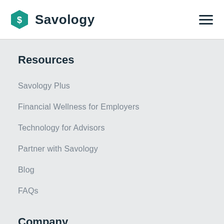[Figure (logo): Savology logo with teal hexagon icon containing an S and the wordmark 'Savology' in dark navy]
Resources
Savology Plus
Financial Wellness for Employers
Technology for Advisors
Partner with Savology
Blog
FAQs
Company
How it Works